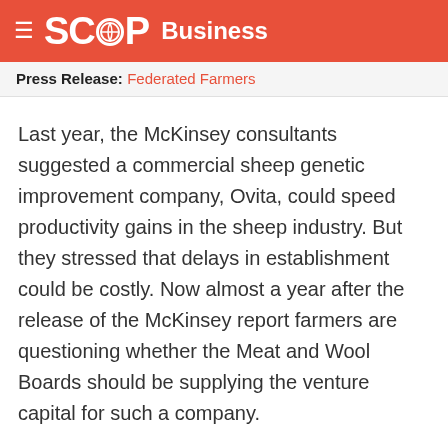SCOOP Business
Press Release: Federated Farmers
Last year, the McKinsey consultants suggested a commercial sheep genetic improvement company, Ovita, could speed productivity gains in the sheep industry. But they stressed that delays in establishment could be costly. Now almost a year after the release of the McKinsey report farmers are questioning whether the Meat and Wool Boards should be supplying the venture capital for such a company.
"Farmers attending Meat & Fibre Producers' North